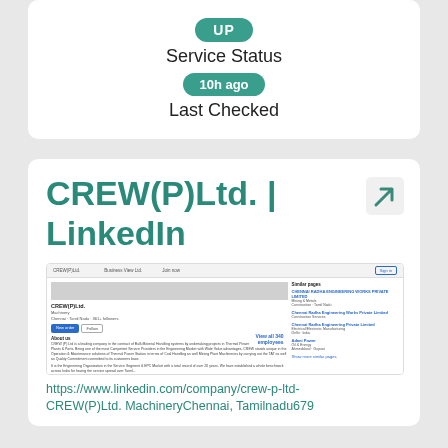UP
Service Status
10h ago
Last Checked
CREW(P)Ltd. | LinkedIn
[Figure (screenshot): Screenshot of CREW(P)Ltd. LinkedIn company page showing company name, 'View all 340 employees', Follow and More buttons, About us section, and Similar pages sidebar with Chennai Radha Engineering Works Private Limited and other companies.]
https://www.linkedin.com/company/crew-p-ltd-
CREW(P)Ltd. MachineryChennai, Tamilnadu679